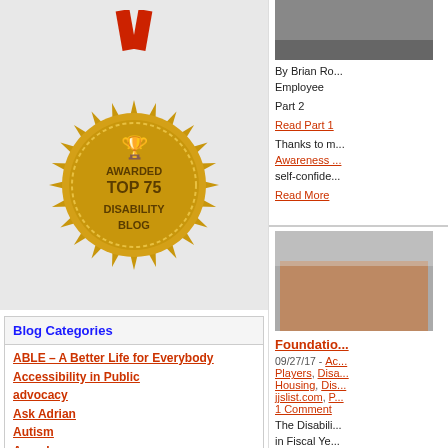[Figure (illustration): Gold medal badge awarded Top 75 Disability Blog with trophy icon]
Blog Categories
ABLE – A Better Life for Everybody
Accessibility in Public
advocacy
Ask Adrian
Autism
Awards
Business News
celebral palsy
Deaf and Hard of Hearing
disability awareness
Disability Awareness Players
[Figure (photo): Photo of a group of people in orange t-shirts posing together]
By Brian Ro... Employee
Part 2
Read Part 1
Thanks to m... Awareness ... self-confide...
Read More
Foundatio...
09/27/17 - Ac... Players, Disa... Housing, Dis... jjslist.com, P... 1 Comment
The Disabili... in Fiscal Ye...
Overall 40+